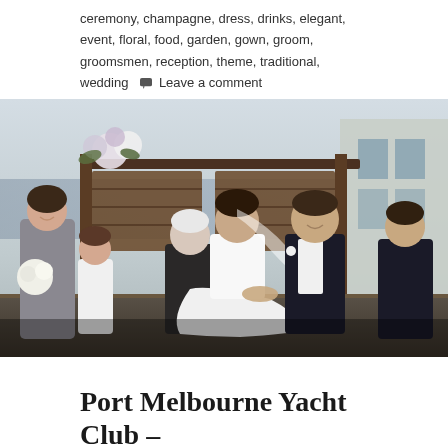ceremony, champagne, dress, drinks, elegant, event, floral, food, garden, gown, groom, groomsmen, reception, theme, traditional, wedding   Leave a comment
[Figure (photo): Outdoor wedding ceremony at Port Melbourne Yacht Club. A bride in a white gown and groom in a dark suit hold hands and laugh while exchanging vows under a dark wooden pergola decorated with white and purple flowers. A female officiant stands between them. A bridesmaid in a grey dress holding white flowers and a young flower girl in white stand to the left. A groomsman in a dark suit stands to the right. The background shows water and a modern building.]
Port Melbourne Yacht Club – Becky & James...